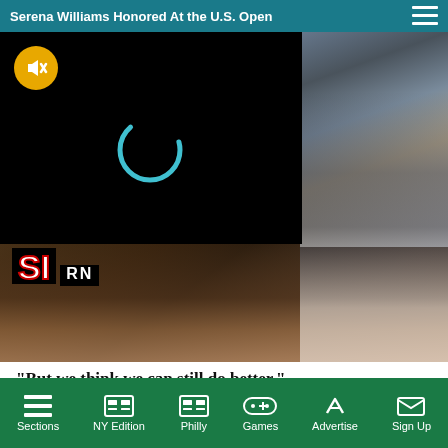Serena Williams Honored At the U.S. Open
[Figure (screenshot): Composite image: left portion shows a black video player with a yellow mute button and teal loading spinner, and SI RN logo at bottom-left. Right portion shows a photo of a woman in a black outfit with hands raised, crowd with sunglasses in background.]
“But we think we can still do better.”
When Osaka had first made the stance that she would not speak to the media at the French Open to protect her mental health, organisers of the claycourt grand
Sections | NY Edition | Philly | Games | Advertise | Sign Up